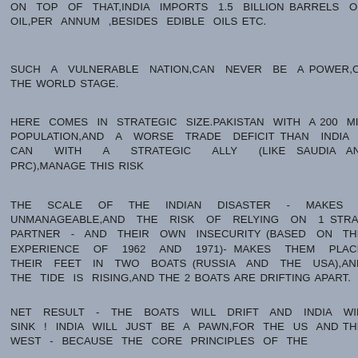ON TOP OF THAT,INDIA IMPORTS 1.5 BILLION BARRELS OF OIL,PER ANNUM ,BESIDES EDIBLE OILS ETC.
SUCH A VULNERABLE NATION,CAN NEVER BE A POWER,ON THE WORLD STAGE.
HERE COMES IN STRATEGIC SIZE.PAKISTAN WITH A 200 MIL POPULATION,AND A WORSE TRADE DEFICIT THAN INDIA - CAN WITH A STRATEGIC ALLY (LIKE SAUDIA AND PRC),MANAGE THIS RISK
THE SCALE OF THE INDIAN DISASTER - MAKES IT UNMANAGEABLE,AND THE RISK OF RELYING ON 1 STRAT PARTNER - AND THEIR OWN INSECURITY (BASED ON THE EXPERIENCE OF 1962 AND 1971)- MAKES THEM PLACE THEIR FEET IN TWO BOATS (RUSSIA AND THE USA),AND THE TIDE IS RISING,AND THE 2 BOATS ARE DRIFTING APART.
NET RESULT - THE BOATS WILL DRIFT AND INDIA WILL SINK ! INDIA WILL JUST BE A PAWN,FOR THE US AND THE WEST - BECAUSE THE CORE PRINCIPLES OF THE